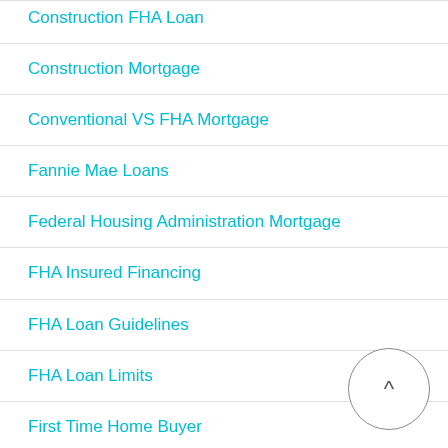Construction FHA Loan
Construction Mortgage
Conventional VS FHA Mortgage
Fannie Mae Loans
Federal Housing Administration Mortgage
FHA Insured Financing
FHA Loan Guidelines
FHA Loan Limits
First Time Home Buyer